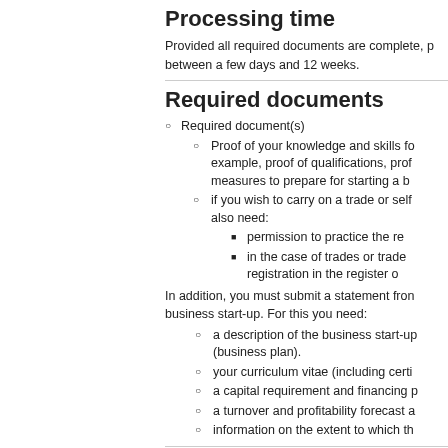Processing time
Provided all required documents are complete, processing time is between a few days and 12 weeks.
Required documents
Required document(s)
Proof of your knowledge and skills for example, proof of qualifications, proof of measures to prepare for starting a business
if you wish to carry on a trade or self-employment, you also need:
permission to practice the relevant profession
in the case of trades or trade-like professions: registration in the register of
In addition, you must submit a statement from a government-recognized advisory body for business start-up. For this you need:
a description of the business start-up project (business plan).
your curriculum vitae (including certificates)
a capital requirement and financing plan
a turnover and profitability forecast and
information on the extent to which the
Fees
none
Legal bases